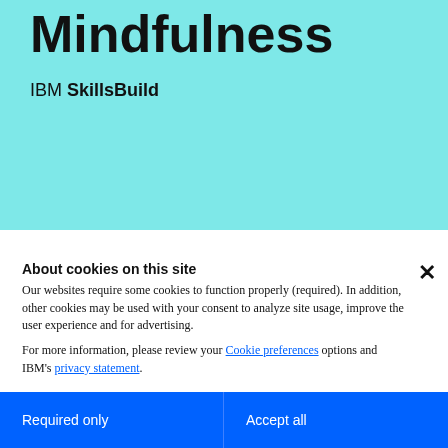Mindfulness
IBM SkillsBuild
[Figure (other): Horizontal gradient color bar with four segments transitioning from dark teal to light aqua]
About cookies on this site
Our websites require some cookies to function properly (required). In addition, other cookies may be used with your consent to analyze site usage, improve the user experience and for advertising.

For more information, please review your Cookie preferences options and IBM's privacy statement.
Required only
Accept all